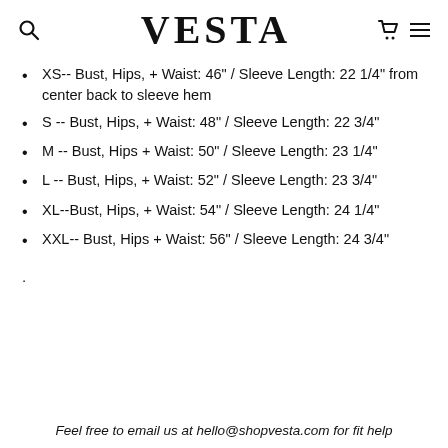VESTA
XS-- Bust, Hips, + Waist: 46" / Sleeve Length: 22 1/4" from center back to sleeve hem
S -- Bust, Hips, + Waist: 48" / Sleeve Length: 22 3/4"
M -- Bust, Hips + Waist: 50" / Sleeve Length: 23 1/4"
L -- Bust, Hips, + Waist: 52" / Sleeve Length: 23 3/4"
XL--Bust, Hips, + Waist: 54" / Sleeve Length: 24 1/4"
XXL-- Bust, Hips + Waist: 56" / Sleeve Length: 24 3/4"
.
Feel free to email us at hello@shopvesta.com for fit help